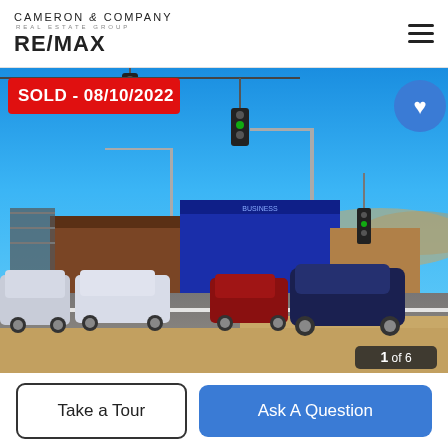[Figure (logo): Cameron & Company Real Estate Group RE/MAX logo in top-left of header]
[Figure (photo): Street-level photo of a commercial intersection showing buildings, traffic lights, street lights, and vehicles. Red banner reads SOLD - 08/10/2022 in top-left. Blue heart button in top-right. Image counter '1 of 6' in bottom-right.]
SOLD - 08/10/2022
1 of 6
Take a Tour
Ask A Question